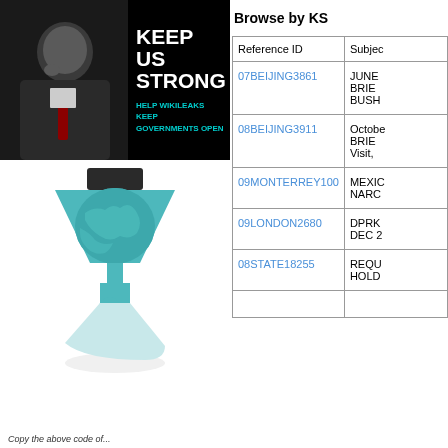[Figure (photo): WikiLeaks 'Keep Us Strong - Help WikiLeaks Keep Governments Open' banner with Julian Assange photo on black background]
[Figure (logo): WikiLeaks hourglass/globe logo in teal and white on white background]
Copy the above code of...
Browse by KS
| Reference ID | Subject |
| --- | --- |
| 07BEIJING3861 | JUNE BRIEF BUSH |
| 08BEIJING3911 | October BRIEF Visit, |
| 09MONTERREY100 | MEXICO NARC |
| 09LONDON2680 | DPRK DEC 2 |
| 08STATE18255 | REQU HOLD |